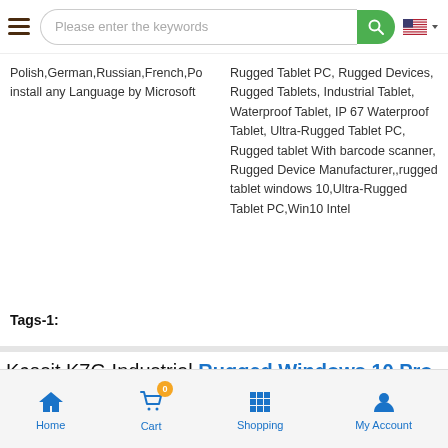Please enter the keywords
Polish,German,Russian,French,Po install any Language by Microsoft
Rugged Tablet PC, Rugged Devices, Rugged Tablets, Industrial Tablet, Waterproof Tablet, IP 67 Waterproof Tablet, Ultra-Rugged Tablet PC, Rugged tablet With barcode scanner, Rugged Device Manufacturer,,rugged tablet windows 10,Ultra-Rugged Tablet PC,Win10 Intel
Tags-1:
Kcosit K7G Industrial Rugged Windows 10 Pro Tablet PC Win10 Intel N4120 10.1" HD 8GB RAM 128GB WiFi RS232 USB 3.0
Home  Cart  Shopping  My Account